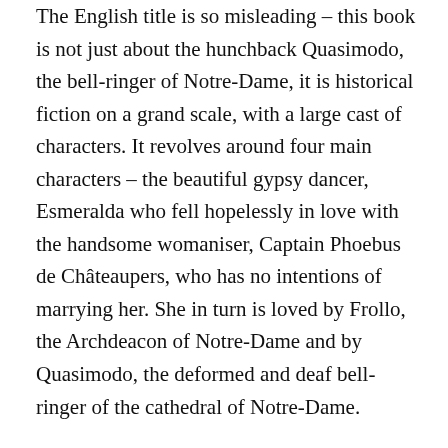The English title is so misleading – this book is not just about the hunchback Quasimodo, the bell-ringer of Notre-Dame, it is historical fiction on a grand scale, with a large cast of characters. It revolves around four main characters – the beautiful gypsy dancer, Esmeralda who fell hopelessly in love with the handsome womaniser, Captain Phoebus de Châteaupers, who has no intentions of marrying her. She in turn is loved by Frollo, the Archdeacon of Notre-Dame and by Quasimodo, the deformed and deaf bell-ringer of the cathedral of Notre-Dame.
But that is not all – it is also the story of the cathedral itself, Notre-Dame de Paris, and Hugo describes it at great length, focusing on